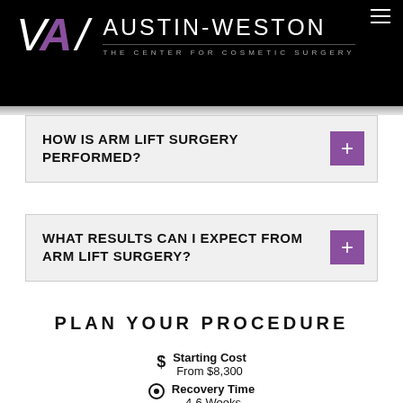[Figure (logo): Austin-Weston The Center for Cosmetic Surgery logo on black background with stylized AW lettermark in white and purple]
HOW IS ARM LIFT SURGERY PERFORMED?
WHAT RESULTS CAN I EXPECT FROM ARM LIFT SURGERY?
PLAN YOUR PROCEDURE
Starting Cost
From $8,300
Recovery Time
4-6 Weeks